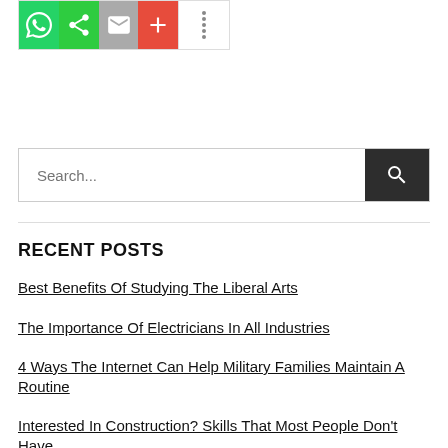[Figure (screenshot): Social sharing buttons bar: WhatsApp (green), Share (green), Mail (grey), Add/Plus (red-orange), and a more options area with dots]
[Figure (screenshot): Search input box with placeholder text 'Search...' and a dark search button with magnifying glass icon]
RECENT POSTS
Best Benefits Of Studying The Liberal Arts
The Importance Of Electricians In All Industries
4 Ways The Internet Can Help Military Families Maintain A Routine
Interested In Construction? Skills That Most People Don't Have